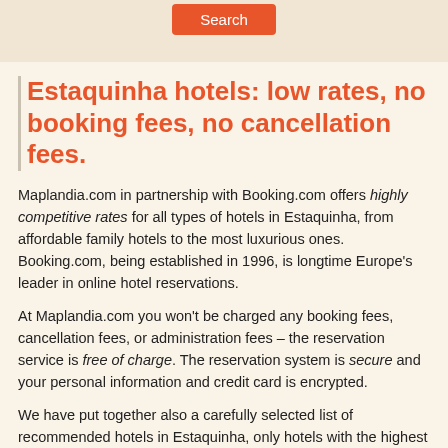Estaquinha hotels: low rates, no booking fees, no cancellation fees.
Maplandia.com in partnership with Booking.com offers highly competitive rates for all types of hotels in Estaquinha, from affordable family hotels to the most luxurious ones. Booking.com, being established in 1996, is longtime Europe's leader in online hotel reservations.
At Maplandia.com you won't be charged any booking fees, cancellation fees, or administration fees – the reservation service is free of charge. The reservation system is secure and your personal information and credit card is encrypted.
We have put together also a carefully selected list of recommended hotels in Estaquinha, only hotels with the highest level of guest satisfaction are included.
Estaquinha hotels map